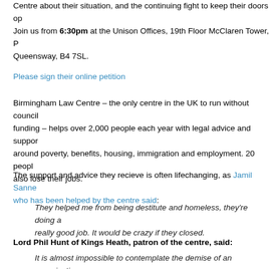Centre about their situation, and the continuing fight to keep their doors open. Join us from 6:30pm at the Unison Offices, 19th Floor McClaren Tower, Priory Queensway, B4 7SL.
Please sign their online petition
Birmingham Law Centre – the only centre in the UK to run without council funding – helps over 2,000 people each year with legal advice and support around poverty, benefits, housing, immigration and employment. 20 people also lose their jobs.
The support and advice they recieve is often lifechanging, as Jamil Sanne who has been helped by the centre said:
They helped me from being destitute and homeless, they're doing a really good job. It would be crazy if they closed.
Lord Phil Hunt of Kings Heath, patron of the centre, said:
It is almost impossible to contemplate the demise of an organisation that is so important to so many people in their fight to lift themselves out of poverty, debt and homelessness.
“We are working hard to try and secure sustainable funding but the cuts to legal support for some of our most vulnerable are proving exceptionally challenging.
“If BLC were to cease to exist, Birmingham would be the only city in t